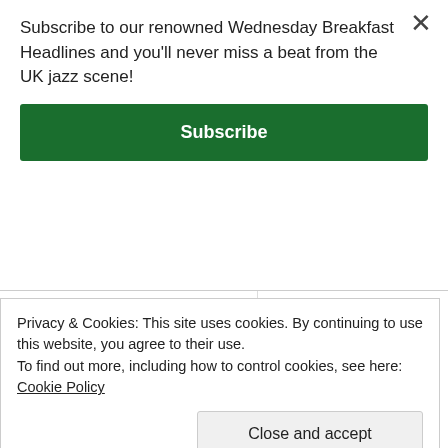Subscribe to our renowned Wednesday Breakfast Headlines and you'll never miss a beat from the UK jazz scene!
Subscribe
@realdluxradio 10pm!
Show 22 of 'The Jazz Show With Robin Phillips' incl. interview w/ #trombonist Chris Dean of @sydlawrenceorch, new update from @LondonJazz
Privacy & Cookies: This site uses cookies. By continuing to use this website, you agree to their use.
To find out more, including how to control cookies, see here: Cookie Policy
Close and accept
[Figure (photo): Bottom strip image, partially visible, dark background with text overlay]